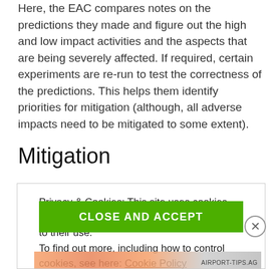Here, the EAC compares notes on the predictions they made and figure out the high and low impact activities and the aspects that are being severely affected. If required, certain experiments are re-run to test the correctness of the predictions. This helps them identify priorities for mitigation (although, all adverse impacts need to be mitigated to some extent).
Mitigation
Privacy & Cookies: This site uses cookies. By continuing to use this website, you agree to their use.
To find out more, including how to control cookies, see here: Cookie Policy
CLOSE AND ACCEPT